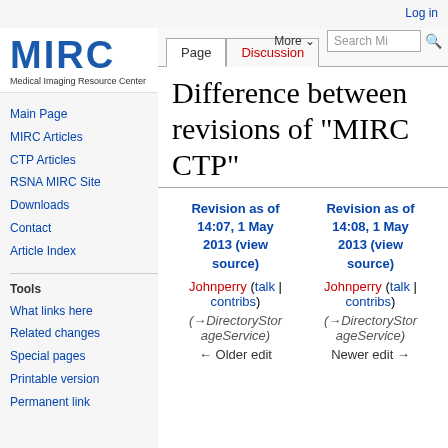Log in
[Figure (logo): MIRC logo - Medical Imaging Resource Center in blue bold text]
Main Page
MIRC Articles
CTP Articles
RSNA MIRC Site
Downloads
Contact
Article Index
Tools
What links here
Related changes
Special pages
Printable version
Permanent link
Difference between revisions of "MIRC CTP"
| Revision as of 14:07, 1 May 2013 (view source) | Revision as of 14:08, 1 May 2013 (view source) |
| --- | --- |
| Johnperry (talk | contribs) | Johnperry (talk | contribs) |
| (→DirectoryStorageService) | (→DirectoryStorageService) |
| ← Older edit | Newer edit → |